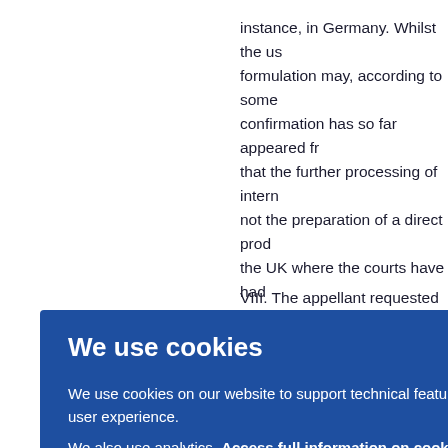instance, in Germany. Whilst the us formulation may, according to some confirmation has so far appeared fr that the further processing of intern not the preparation of a direct prod the UK where the courts have had Section 60(1)(c), Patents Act 1977. protection.
VIII. The appellant requested that t e of th reque
We use cookies
We use cookies on our website to support technical features that enhance your user experience. We also use analytics. Access full information on cookies that we use and how to manage them
OK
article again uppo